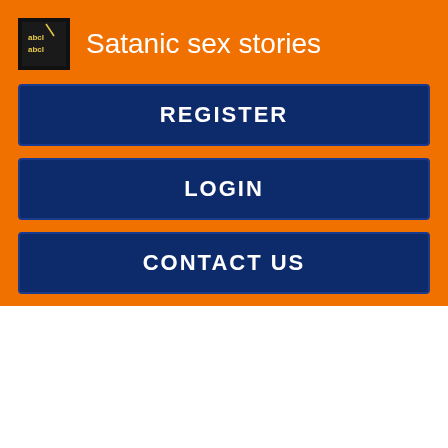Satanic sex stories
REGISTER
LOGIN
CONTACT US
was provoked into that.
Stay connected
I'm not angry anymore. McCaskill: Well, there may be a level How much dick can she take emotion you're not entirely in touch with. Let's talk about your life in general. Daphne: Yes, Donny. He's a